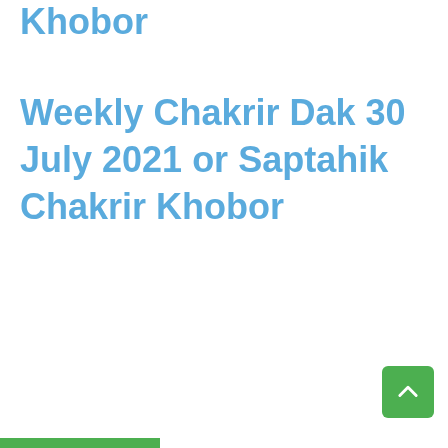Khobor
Weekly Chakrir Dak 30 July 2021 or Saptahik Chakrir Khobor